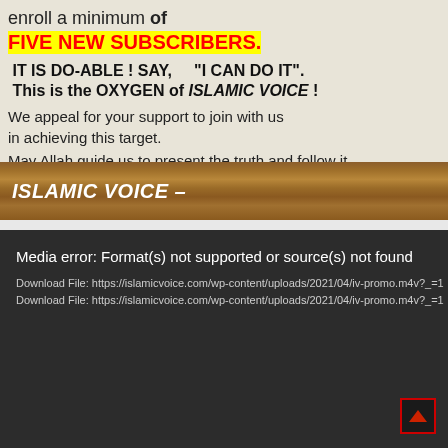enroll a minimum of FIVE NEW SUBSCRIBERS. IT IS DO-ABLE ! SAY, "I CAN DO IT". This is the OXYGEN of ISLAMIC VOICE ! We appeal for your support to join with us in achieving this target. May Allah guide us to present the truth and follow it. Editor, ISLAMIC VOICE –
[Figure (screenshot): Media error panel with dark background showing: Media error: Format(s) not supported or source(s) not found. Download File: https://islamicvoice.com/wp-content/uploads/2021/04/iv-promo.m4v?_=1. Download File: https://islamicvoice.com/wp-content/uploads/2021/04/iv-promo.m4v?_=1]